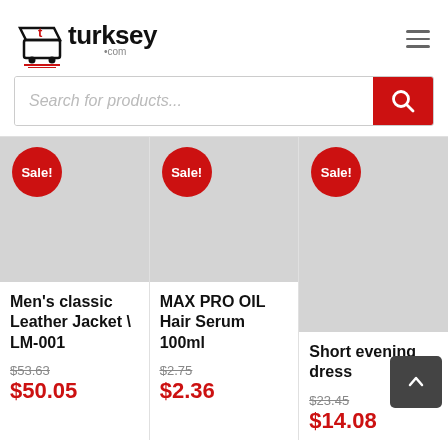[Figure (logo): Turksey.com e-commerce logo with shopping cart icon in red and black]
Search for products...
[Figure (illustration): Product image placeholder (grey) with Sale! badge – Men's classic Leather Jacket LM-001]
Men's classic Leather Jacket \ LM-001
$53.63
$50.05
[Figure (illustration): Product image placeholder (grey) with Sale! badge – MAX PRO OIL Hair Serum 100ml]
MAX PRO OIL Hair Serum 100ml
$2.75
$2.36
[Figure (illustration): Product image placeholder (grey) with Sale! badge – Short evening dress]
Short evening dress
$23.45
$14.08